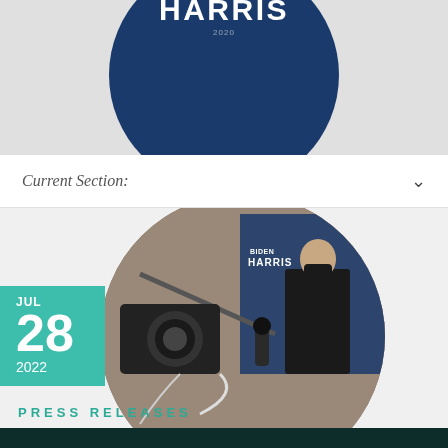[Figure (photo): Circular cropped photo showing a Biden-Harris campaign sign and microphone/camera equipment in foreground, with a masked person in background]
Current Section:
[Figure (photo): Circular cropped photo of camera/microphone equipment at a press event with Biden-Harris backdrop visible in background]
JUL
28
2022
PRESS RELEASES
We use cookies to offer you a better browsing experience, analyze site traffic, personalize content, and serve targeted advertisements. Read about how we use cookies and our use of data by reading our new Privacy Policy. If you continue to use this site, you